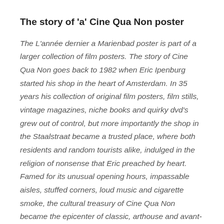The story of 'a' Cine Qua Non poster
The L'année dernier a Marienbad poster is part of a larger collection of film posters. The story of Cine Qua Non goes back to 1982 when Eric Ipenburg started his shop in the heart of Amsterdam. In 35 years his collection of original film posters, film stills, vintage magazines, niche books and quirky dvd's grew out of control, but more importantly the shop in the Staalstraat became a trusted place, where both residents and random tourists alike, indulged in the religion of nonsense that Eric preached by heart. Famed for its unusual opening hours, impassable aisles, stuffed corners, loud music and cigarette smoke, the cultural treasury of Cine Qua Non became the epicenter of classic, arthouse and avant-